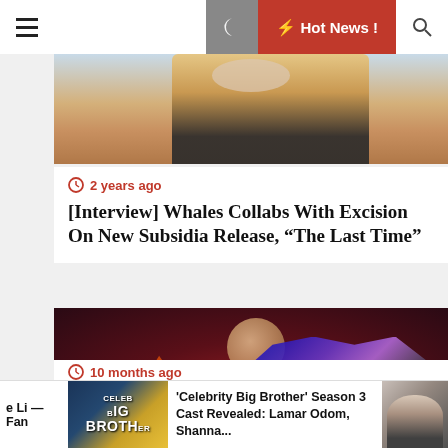☰  🌙  ⚡ Hot News !  🔍
[Figure (photo): Top portion of article image showing a person in an orange/tan jacket with a chain necklace against a light blue background]
🕐 2 years ago
[Interview] Whales Collabs With Excision On New Subsidia Release, "The Last Time"
[Figure (photo): Dark fantasy/EDM artwork showing two creature-like figures with purple and blue iridescent features against a fiery orange background with a moon]
🕐 10 months ago
e Li — Fan
[Figure (photo): Celebrity Big Brother logo/building thumbnail image]
'Celebrity Big Brother' Season 3 Cast Revealed: Lamar Odom, Shanna...
[Figure (photo): Partial thumbnail of a man with dark hair and beard on right side]